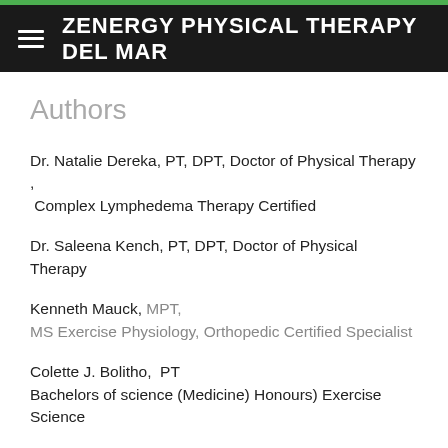ZENERGY PHYSICAL THERAPY DEL MAR
Authors
Dr. Natalie Dereka, PT, DPT, Doctor of Physical Therapy , Complex Lymphedema Therapy Certified
Dr. Saleena Kench, PT, DPT, Doctor of Physical Therapy
Kenneth Mauck, MPT, MS Exercise Physiology, Orthopedic Certified Specialist
Colette J. Bolitho,  PT Bachelors of science (Medicine) Honours) Exercise Science
Betty Bulich, PT